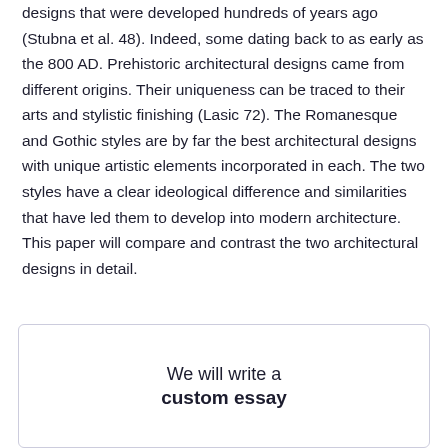designs that were developed hundreds of years ago (Stubna et al. 48). Indeed, some dating back to as early as the 800 AD. Prehistoric architectural designs came from different origins. Their uniqueness can be traced to their arts and stylistic finishing (Lasic 72). The Romanesque and Gothic styles are by far the best architectural designs with unique artistic elements incorporated in each. The two styles have a clear ideological difference and similarities that have led them to develop into modern architecture. This paper will compare and contrast the two architectural designs in detail.
We will write a custom essay